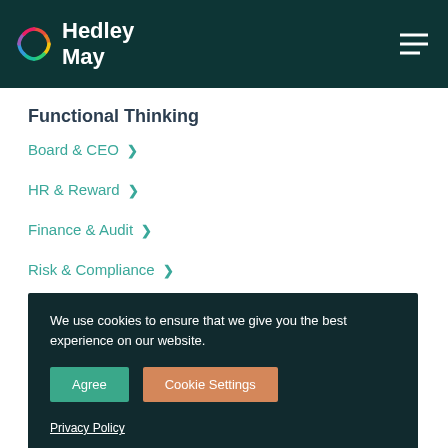Hedley May
Functional Thinking
Board & CEO
HR & Reward
Finance & Audit
Risk & Compliance
We use cookies to ensure that we give you the best experience on our website.
Agree | Cookie Settings
Privacy Policy